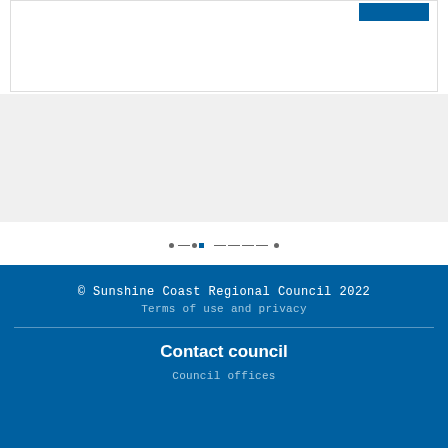[Figure (screenshot): Top white card area with a blue button in the top right corner]
[Figure (screenshot): Grey background section below the white card]
[Figure (screenshot): Pagination dots and dashes navigation control]
© Sunshine Coast Regional Council 2022
Terms of use and privacy

Contact council
Council offices